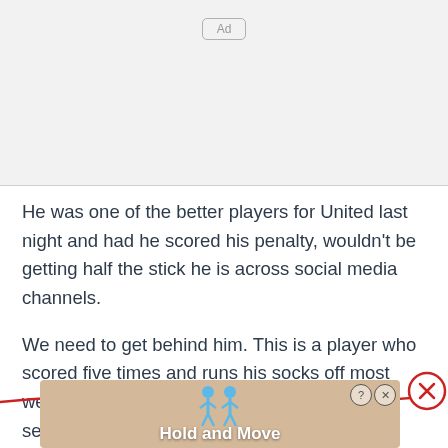[Figure (other): Grey ad placeholder box with 'Ad' label in rounded rectangle]
He was one of the better players for United last night and had he scored his penalty, wouldn't be getting half the stick he is across social media channels.
We need to get behind him. This is a player who scored five times and runs his socks off most weeks. His last minute lunge to deny Villa a second goalscoring ch...
[Figure (screenshot): Mobile banner advertisement showing 'Hold and Move' game with blue cartoon figures on a wooden background, with help and close icons in top right]